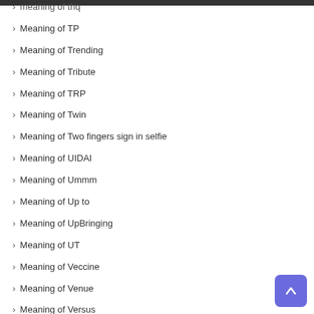› meaning of thq
› Meaning of TP
› Meaning of Trending
› Meaning of Tribute
› Meaning of TRP
› Meaning of Twin
› Meaning of Two fingers sign in selfie
› Meaning of UIDAI
› Meaning of Ummm
› Meaning of Up to
› Meaning of UpBringing
› Meaning of UT
› Meaning of Veccine
› Meaning of Venue
› Meaning of Versus
› Meaning of Vl23